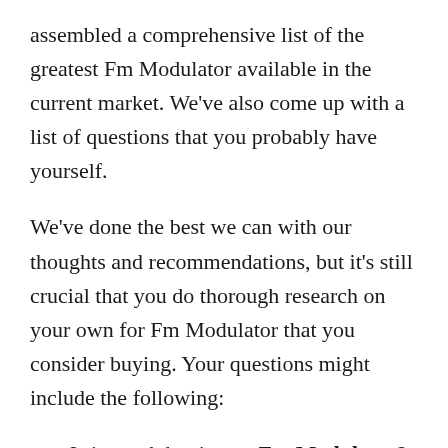assembled a comprehensive list of the greatest Fm Modulator available in the current market. We've also come up with a list of questions that you probably have yourself.
We've done the best we can with our thoughts and recommendations, but it's still crucial that you do thorough research on your own for Fm Modulator that you consider buying. Your questions might include the following:
Is it worth buying an Fm Modulator?